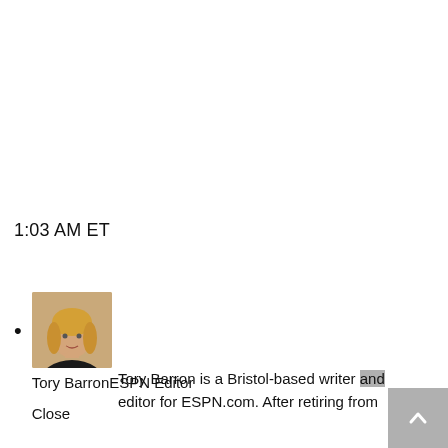1:03 AM ET
[Figure (photo): Headshot photo of Tory Barron, a woman with blonde hair, wearing dark clothing]
Tory BarronESPN Editor
Close
Tory Barron is a Bristol-based writer and editor for ESPN.com. After retiring from